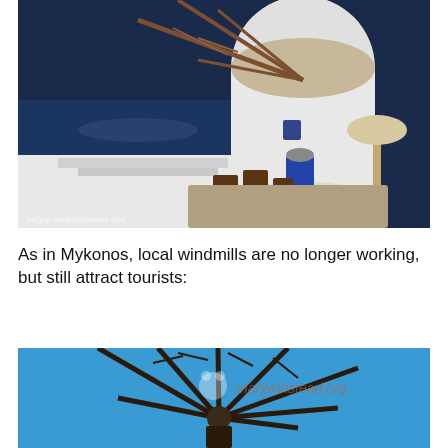[Figure (photo): A white Greek windmill with wooden sails sits on a rocky cliffside overlooking the deep blue Aegean Sea. Wooden lounge chairs and a folded umbrella are visible on a terrace. A watermark reads 'sergey.ridley.livejournal.com'.]
As in Mykonos, local windmills are no longer working, but still attract tourists:
[Figure (photo): Close-up shot looking up at the wooden sails/blades of a Greek windmill against a bright blue sky. A watermark reads 'marywinstead.org' with a bear icon.]